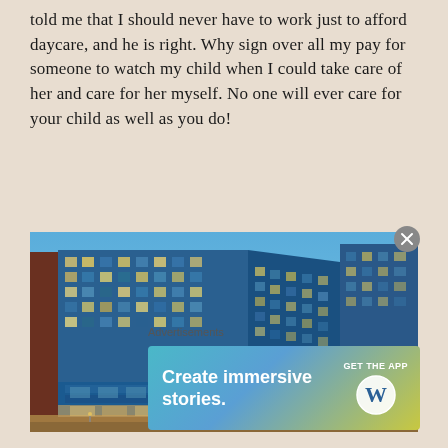told me that I should never have to work just to afford daycare, and he is right. Why sign over all my pay for someone to watch my child when I could take care of her and care for her myself. No one will ever care for your child as well as you do!
[Figure (photo): Modern glass office building with blue and green glazed facade, multi-story, photographed at dusk with interior lights on. A lower glass connector wing extends to the right.]
Advertisements
[Figure (screenshot): WordPress advertisement banner with gradient background (teal to yellow-green). Text reads 'Create immersive stories.' with 'GET THE APP' and WordPress logo on the right.]